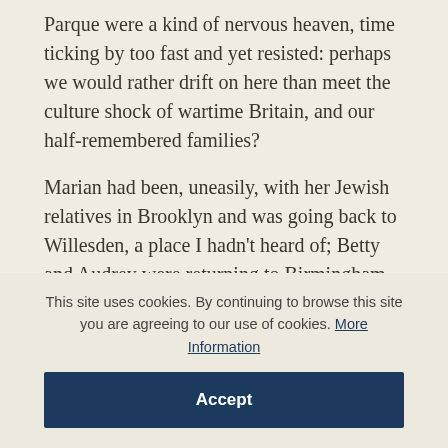Parque were a kind of nervous heaven, time ticking by too fast and yet resisted: perhaps we would rather drift on here than meet the culture shock of wartime Britain, and our half-remembered families?
Marian had been, uneasily, with her Jewish relatives in Brooklyn and was going back to Willesden, a place I hadn’t heard of; Betty and Audrey were returning to Birmingham. Betty, almost old enough to get into the Army, was being
This site uses cookies. By continuing to browse this site you are agreeing to our use of cookies. More Information
Accept